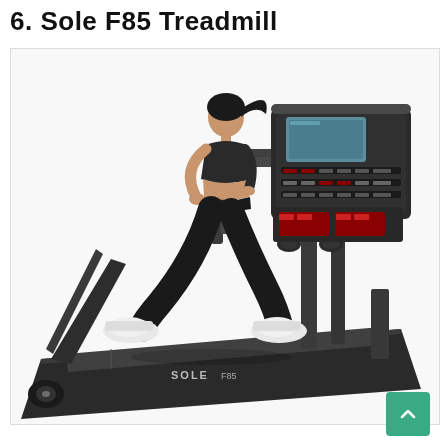6. Sole F85 Treadmill
[Figure (photo): A woman running on a Sole F85 treadmill. The treadmill is black and grey with a large console featuring multiple buttons and a screen. The woman has dark hair in a ponytail and is wearing black athletic pants and a black sports bra with white running shoes.]
[Figure (other): Green scroll-to-top button with an upward arrow chevron in the bottom-right corner of the page.]